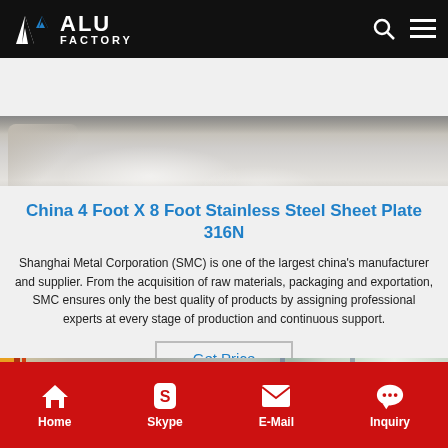ALU FACTORY
[Figure (photo): Close-up of a shiny stainless steel sheet plate with a metallic brushed surface, showing reflective highlights]
China 4 Foot X 8 Foot Stainless Steel Sheet Plate 316N
Shanghai Metal Corporation (SMC) is one of the largest china's manufacturer and supplier. From the acquisition of raw materials, packaging and exportation, SMC ensures only the best quality of products by assigning professional experts at every stage of production and continuous support.
Get Price
[Figure (photo): Interior of an industrial manufacturing facility with overhead cranes, yellow and red structural elements, and various machinery]
Home  Skype  E-Mail  Inquiry